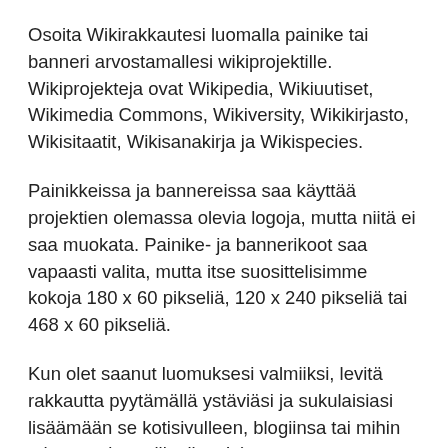Osoita Wikirakkautesi luomalla painike tai banneri arvostamallesi wikiprojektille. Wikiprojekteja ovat Wikipedia, Wikiuutiset, Wikimedia Commons, Wikiversity, Wikikirjasto, Wikisitaatit, Wikisanakirja ja Wikispecies.
Painikkeissa ja bannereissa saa käyttää projektien olemassa olevia logoja, mutta niitä ei saa muokata. Painike- ja bannerikoot saa vapaasti valita, mutta itse suosittelisimme kokoja 180 x 60 pikseliä, 120 x 240 pikseliä tai 468 x 60 pikseliä.
Kun olet saanut luomuksesi valmiiksi, levitä rakkautta pyytämällä ystäviäsi ja sukulaisiasi lisäämään se kotisivulleen, blogiinsa tai mihin tahansa virtuaalikotiinsa! :)
Varainkeruumme edistämiseksi pyydämme, että painikkeista ja bannereista olisi linkki sivulle